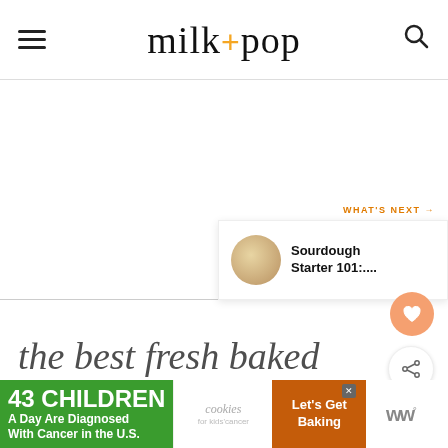milk + pop — navigation header with hamburger menu, logo, and search icon
[Figure (screenshot): Large white blank main content area of a food blog webpage]
[Figure (infographic): Floating heart (favorite) button — orange circle with white heart icon]
[Figure (infographic): Floating share button — white circle with share icon]
WHAT'S NEXT → Sourdough Starter 101:....
[Figure (photo): Thumbnail image of sourdough starter in a jar]
[Figure (screenshot): Advertisement banner: 43 CHILDREN A Day Are Diagnosed With Cancer in the U.S. | cookies for kids' cancer | Let's Get Baking]
43 CHILDREN A Day Are Diagnosed With Cancer in the U.S.
cookies for kids' cancer
Let's Get Baking